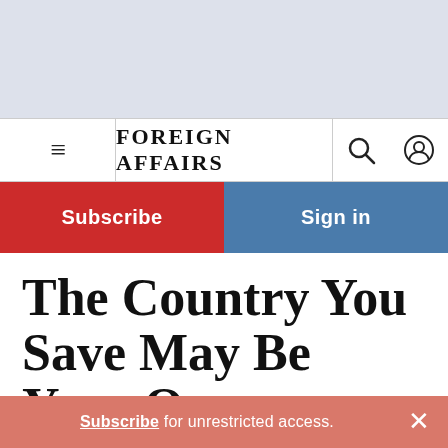[Figure (other): Gray advertisement banner area at top of page]
FOREIGN AFFAIRS
Subscribe
Sign in
The Country You Save May Be Your Own
What Elections in Iran Can Teach Us About Voting in the United States
Subscribe for unrestricted access.